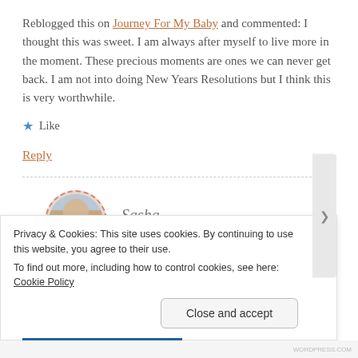Reblogged this on Journey For My Baby and commented: I thought this was sweet. I am always after myself to live more in the moment. These precious moments are ones we can never get back. I am not into doing New Years Resolutions but I think this is very worthwhile.
Like
Reply
Sasha
DECEMBER 31, 2014 AT 2:34 PM
Privacy & Cookies: This site uses cookies. By continuing to use this website, you agree to their use.
To find out more, including how to control cookies, see here: Cookie Policy
Close and accept